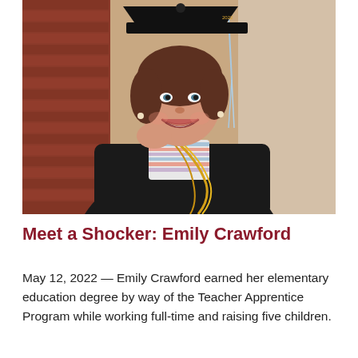[Figure (photo): A woman wearing a black graduation gown and mortarboard cap with a light blue tassel and a gold/yellow honor cord, smiling and leaning against a red brick wall outdoors. She is wearing a colorful striped shirt underneath her gown.]
Meet a Shocker: Emily Crawford
May 12, 2022 — Emily Crawford earned her elementary education degree by way of the Teacher Apprentice Program while working full-time and raising five children.